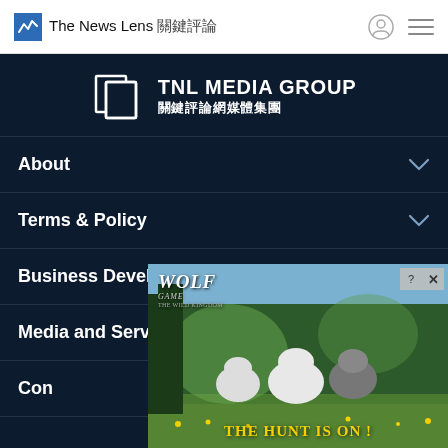The News Lens 關鍵評論
[Figure (logo): TNL Media Group logo — white outline square brackets icon with 'TNL MEDIA GROUP' and '關鍵評論網媒體集團' on dark background]
About
Terms & Policy
Business Development
Media and Services
Con...
[Figure (photo): Wolf Game advertisement showing wolves in a forest scene with text 'THE HUNT IS ON !' in yellow]